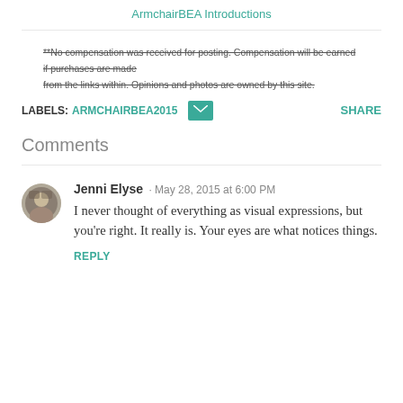ArmchairBEA Introductions
**No compensation was received for posting. Compensation will be earned if purchases are made from the links within. Opinions and photos are owned by this site.
LABELS: ARMCHAIRBEA2015 [email icon] SHARE
Comments
Jenni Elyse · May 28, 2015 at 6:00 PM
I never thought of everything as visual expressions, but you're right. It really is. Your eyes are what notices things.
REPLY